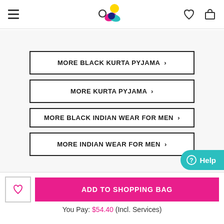Navigation header with hamburger, search, logo, wishlist, and bag icons
MORE BLACK KURTA PYJAMA >
MORE KURTA PYJAMA >
MORE BLACK INDIAN WEAR FOR MEN >
MORE INDIAN WEAR FOR MEN >
ADD TO SHOPPING BAG
You Pay: $54.40 (Incl. Services)